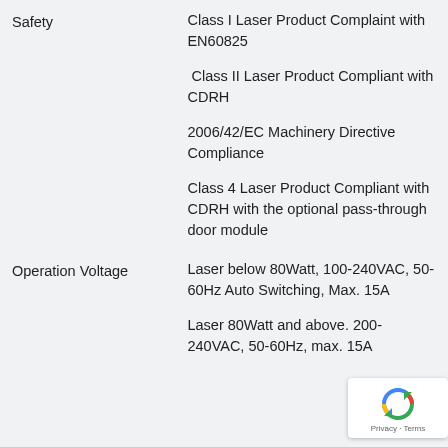| Property | Value |
| --- | --- |
| Safety | Class I Laser Product Complaint with EN60825
Class II Laser Product Compliant with CDRH
2006/42/EC Machinery Directive Compliance
Class 4 Laser Product Compliant with CDRH with the optional pass-through door module |
| Operation Voltage | Laser below 80Watt, 100-240VAC, 50-60Hz Auto Switching, Max. 15A
Laser 80Watt and above. 200-240VAC, 50-60Hz, max. 15A |